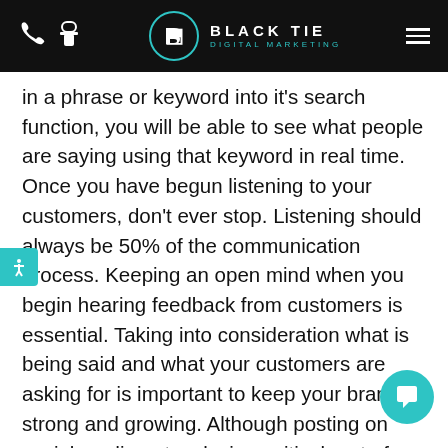Black Tie Digital Marketing — navigation header
in a phrase or keyword into it's search function, you will be able to see what people are saying using that keyword in real time. Once you have begun listening to your customers, don't ever stop. Listening should always be 50% of the communication process. Keeping an open mind when you begin hearing feedback from customers is essential. Taking into consideration what is being said and what your customers are asking for is important to keep your brand strong and growing. Although posting on social media networks is a critical part of your Internet Marketing plan in